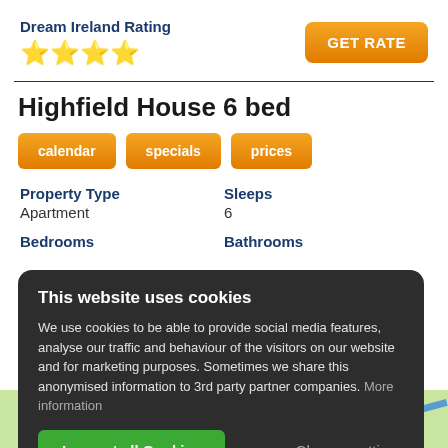Dream Ireland Rating
[Figure (other): Orange GET RATE button]
[Figure (other): 4 gold stars rating]
Highfield House 6 bed
calendar
specials
prices
Property Type
Apartment
Sleeps
6
Bedrooms
Bathrooms
This website uses cookies
We use cookies to be able to provide social media features, analyse our traffic and behaviour of the visitors on our website and for marketing purposes. Sometimes we share this anonymised information to 3rd party partner companies. More information
I accept all Cookies
Change settings
[Figure (map): Google map showing local area with roads and marker]